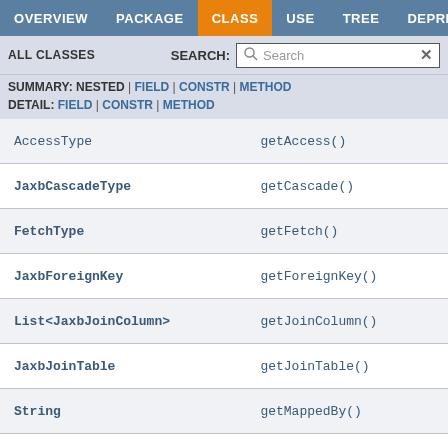OVERVIEW  PACKAGE  CLASS  USE  TREE  DEPRECATED
ALL CLASSES   SEARCH:  Search
SUMMARY: NESTED | FIELD | CONSTR | METHOD
DETAIL: FIELD | CONSTR | METHOD
| Type | Method |
| --- | --- |
| AccessType | getAccess() |
| JaxbCascadeType | getCascade() |
| FetchType | getFetch() |
| JaxbForeignKey | getForeignKey() |
| List<JaxbJoinColumn> | getJoinColumn() |
| JaxbJoinTable | getJoinTable() |
| String | getMappedBy() |